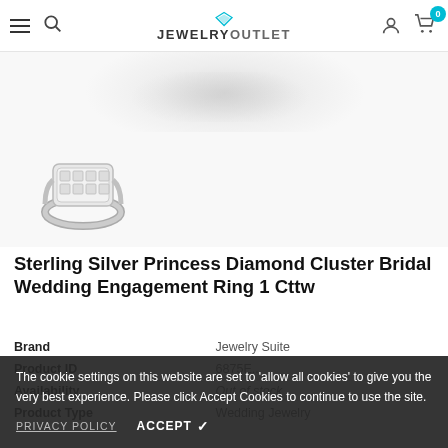JEWELRYOUTLET — navigation bar with menu, search, user, and cart icons
[Figure (photo): Partially visible product image (blurred) of a Sterling Silver Princess Diamond Cluster Bridal Wedding Engagement Ring at top, and a thumbnail view of same ring at bottom-left]
Sterling Silver Princess Diamond Cluster Bridal Wedding Engagement Ring 1 Cttw
| Brand | Jewelry Suite |
| Product ID | 68752... |
| Availability | Out of stock |
| Product Type | Wedding Jewelry |
The cookie settings on this website are set to 'allow all cookies' to give you the very best experience. Please click Accept Cookies to continue to use the site.
PRIVACY POLICY   ACCEPT ✔